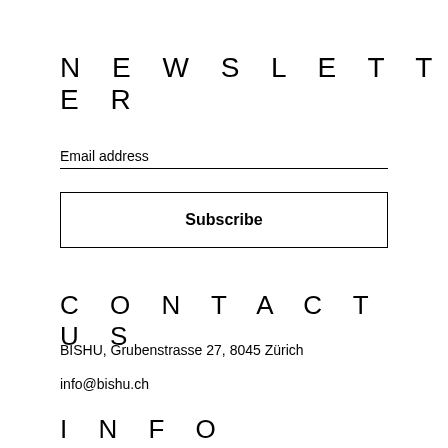NEWSLETTER
Email address
Subscribe
CONTACT US
BISHU, Grubenstrasse 27, 8045 Zürich
info@bishu.ch
INFO